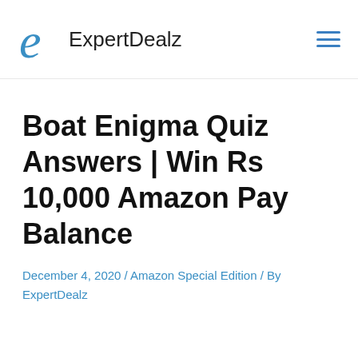ExpertDealz
Boat Enigma Quiz Answers | Win Rs 10,000 Amazon Pay Balance
December 4, 2020 / Amazon Special Edition / By ExpertDealz